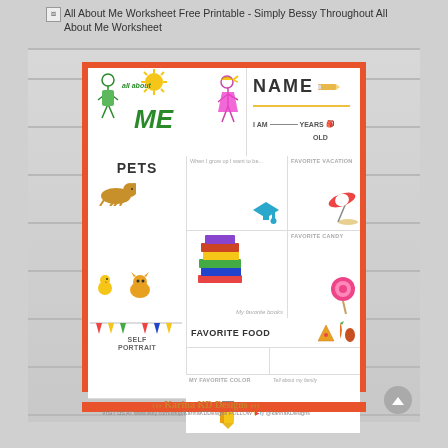All About Me Worksheet Free Printable - Simply Bessy Throughout All About Me Worksheet
[Figure (illustration): All About Me worksheet printable showing sections for Name, Age, Pets, Favorite Vacation, Favorite Candy, What I want to be when I grow up, My Favorite Books, Self Portrait, Favorite Food, My Favorite Color, Tell about my family, and Favorite Music. Features stick figure children illustrations and decorative elements. Branded as Karina KD Designs.]